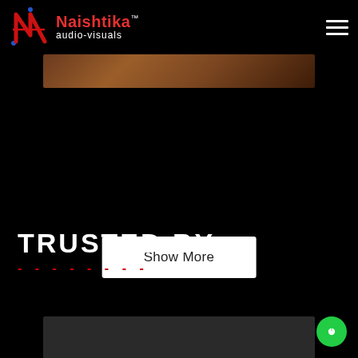[Figure (logo): Naishtika audio-visuals logo with stylized N letter mark in red and blue dots, white text brand name and tagline]
[Figure (photo): Partial brown/wood textured image strip]
Show More
TRUSTED BY
--------
[Figure (photo): Bottom dark gray partial image area]